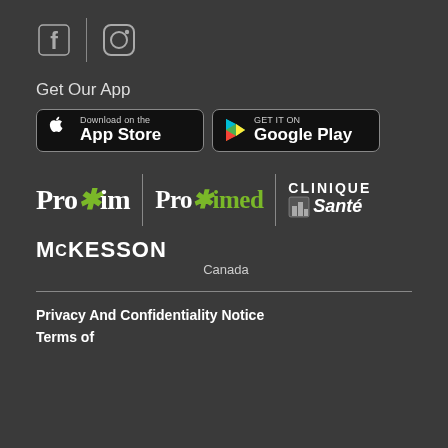[Figure (logo): Facebook and Instagram social media icons with vertical divider]
Get Our App
[Figure (logo): App Store download button (black, Apple logo)]
[Figure (logo): Google Play Get It On button (black, Play logo)]
[Figure (logo): Proxim logo]
[Figure (logo): Proximed logo]
[Figure (logo): Clinique Santé logo]
[Figure (logo): McKesson Canada logo]
Privacy And Confidentiality Notice
Terms of...